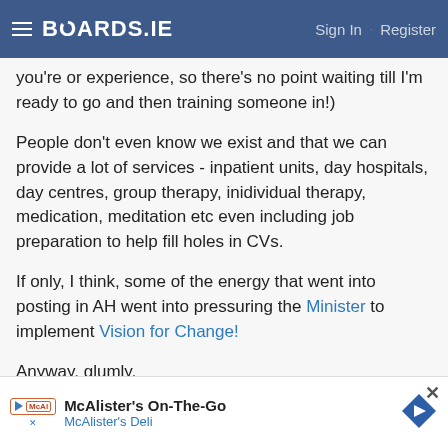BOARDS.IE  Sign In · Register
you're or experience, so there's no point waiting till I'm ready to go and then training someone in!)
People don't even know we exist and that we can provide a lot of services - inpatient units, day hospitals, day centres, group therapy, inidividual therapy, medication, meditation etc even including job preparation to help fill holes in CVs.
If only, I think, some of the energy that went into posting in AH went into pressuring the Minister to implement Vision for Change!
Anyway, glumly,
JC
[Figure (screenshot): McAlister's On-The-Go advertisement banner with McAlister's Deli text and navigation arrow icon]